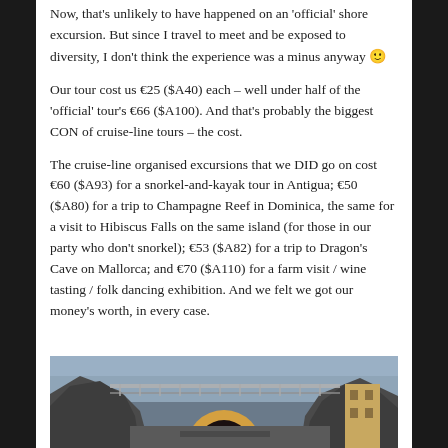Now, that's unlikely to have happened on an 'official' shore excursion. But since I travel to meet and be exposed to diversity, I don't think the experience was a minus anyway 🙂
Our tour cost us €25 ($A40) each – well under half of the 'official' tour's €66 ($A100). And that's probably the biggest CON of cruise-line tours – the cost.
The cruise-line organised excursions that we DID go on cost €60 ($A93) for a snorkel-and-kayak tour in Antigua; €50 ($A80) for a trip to Champagne Reef in Dominica, the same for a visit to Hibiscus Falls on the same island (for those in our party who don't snorkel); €53 ($A82) for a trip to Dragon's Cave on Mallorca; and €70 ($A110) for a farm visit / wine tasting / folk dancing exhibition. And we felt we got our money's worth, in every case.
[Figure (photo): Photo of a tunnel entrance with rocky cliffs and a bridge or walkway structure in front, with a building visible on the right side]